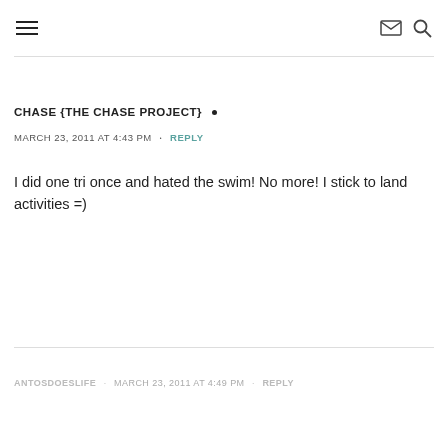≡  [mail icon] [search icon]
CHASE {THE CHASE PROJECT} •
MARCH 23, 2011 AT 4:43 PM  •  REPLY
I did one tri once and hated the swim! No more! I stick to land activities =)
ANTOSDOESLIFE  •  MARCH 23, 2011 AT 4:49 PM  •  REPLY